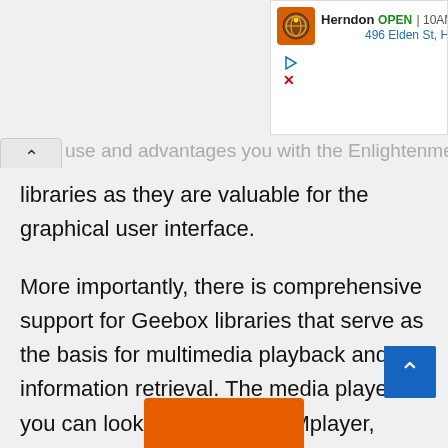[Figure (screenshot): Advertisement banner showing a local business 'Herndon' with OPEN status and '10AM' hours, address '496 Elden St, Herndon', orange icon with a globe/map graphic, play and close controls]
...use and advantages you with the Enlightenment libraries as they are valuable for the graphical user interface.
More importantly, there is comprehensive support for Geebox libraries that serve as the basis for multimedia playback and information retrieval. The media player you can look forward to are Mplayer, Xine, VLC, or GStreamer, and the media player supports that is possible with libplayer.